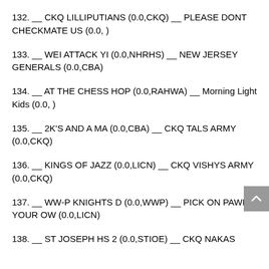132. __ CKQ LILLIPUTIANS (0.0,CKQ) __ PLEASE DONT CHECKMATE US (0.0, )
133. __ WEI ATTACK YI (0.0,NHRHS) __ NEW JERSEY GENERALS (0.0,CBA)
134. __ AT THE CHESS HOP (0.0,RAHWA) __ Morning Light Kids (0.0, )
135. __ 2K'S AND A MA (0.0,CBA) __ CKQ TALS ARMY (0.0,CKQ)
136. __ KINGS OF JAZZ (0.0,LICN) __ CKQ VISHYS ARMY (0.0,CKQ)
137. __ WW-P KNIGHTS D (0.0,WWP) __ PICK ON PAWNS YOUR OW (0.0,LICN)
138. __ ST JOSEPH HS 2 (0.0,STIOE) __ CKQ NAKAS